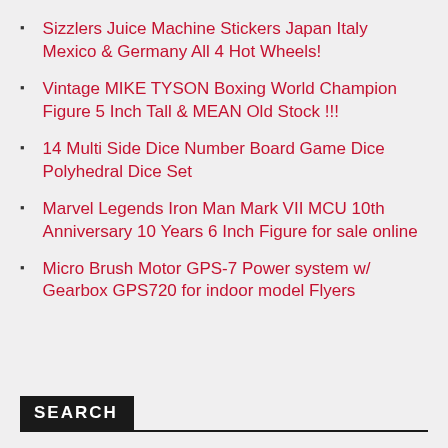Sizzlers Juice Machine Stickers Japan Italy Mexico & Germany All 4 Hot Wheels!
Vintage MIKE TYSON Boxing World Champion Figure 5 Inch Tall & MEAN Old Stock !!!
14 Multi Side Dice Number Board Game Dice Polyhedral Dice Set
Marvel Legends Iron Man Mark VII MCU 10th Anniversary 10 Years 6 Inch Figure for sale online
Micro Brush Motor GPS-7 Power system w/ Gearbox GPS720 for indoor model Flyers
SEARCH